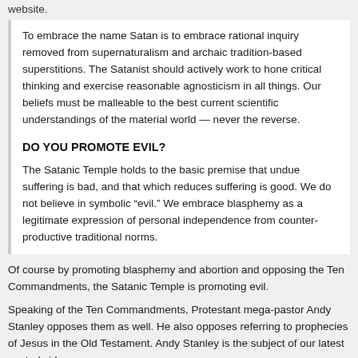website.
To embrace the name Satan is to embrace rational inquiry removed from supernaturalism and archaic tradition-based superstitions. The Satanist should actively work to hone critical thinking and exercise reasonable agnosticism in all things. Our beliefs must be malleable to the best current scientific understandings of the material world — never the reverse.
DO YOU PROMOTE EVIL?
The Satanic Temple holds to the basic premise that undue suffering is bad, and that which reduces suffering is good. We do not believe in symbolic “evil.” We embrace blasphemy as a legitimate expression of personal independence from counter-productive traditional norms.
Of course by promoting blasphemy and abortion and opposing the Ten Commandments, the Satanic Temple is promoting evil.
Speaking of the Ten Commandments, Protestant mega-pastor Andy Stanley opposes them as well. He also opposes referring to prophecies of Jesus in the Old Testament. Andy Stanley is the subject of our latest posted video:
[Figure (photo): A person (man) visible from the shoulders up, appearing to speak, set against a dark red/maroon curtain background. Left portion shows a lighter gray/white wall area.]